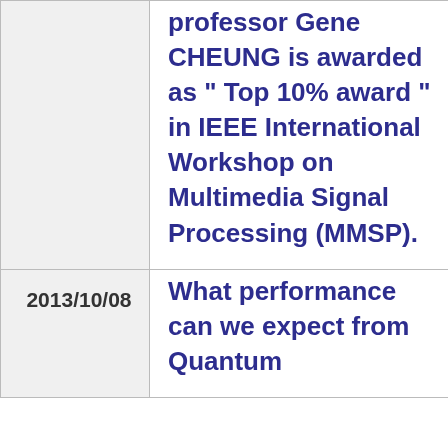| Date | Event |
| --- | --- |
|  | professor Gene CHEUNG is awarded as " Top 10% award " in IEEE International Workshop on Multimedia Signal Processing (MMSP). |
| 2013/10/08 | What performance can we expect from Quantum |